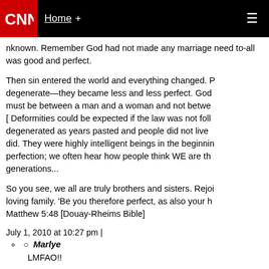CNN | Home + ≡
nknown. Remember God had not made any marriage need to-all was good and perfect.
Then sin entered the world and everything changed. People began to degenerate—they became less and less perfect. God ... must be between a man and a woman and not betwe... [ Deformities could be expected if the law was not foll... degenerated as years pasted and people did not live as they did. They were highly intelligent beings in the beginning perfection; we often hear how people think WE are the generations...
So you see, we all are truly brothers and sisters. Rejoi... loving family. 'Be you therefore perfect, as also your he... Matthew 5:48 [Douay-Rheims Bible]
July 1, 2010 at 10:27 pm |
Marlye
LMFAO!!